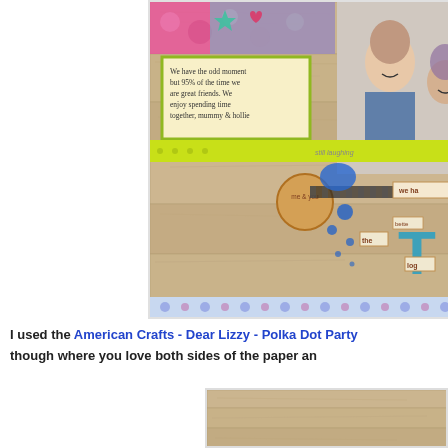[Figure (photo): Scrapbook layout page with wood plank background, colorful patterned paper, a journaling block that reads 'We have the odd moment but 95% of the time we are great friends. We enjoy spending time together, mummy & hollie', a yellow strip reading 'still laughing', a circular badge reading 'me & you', blue paint splatters, washi tape, embellishments, and a photo of two smiling women.]
I used the American Crafts - Dear Lizzy - Polka Dot Party though where you love both sides of the paper an
[Figure (photo): Partial view of another scrapbook layout with wood plank background, partially visible at the bottom of the page.]